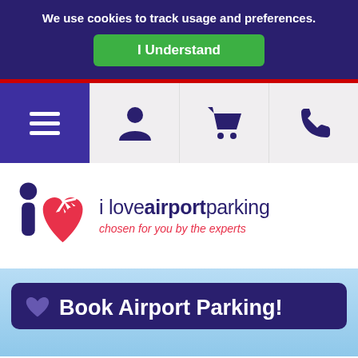We use cookies to track usage and preferences.
I Understand
[Figure (screenshot): Navigation bar with hamburger menu, user icon, shopping cart icon, and phone icon]
[Figure (logo): iLoveAirportParking logo with heart and airplane graphic, tagline: chosen for you by the experts]
Book Airport Parking!